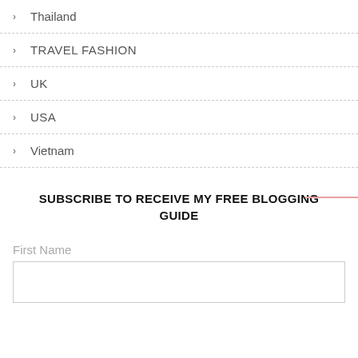Thailand
TRAVEL FASHION
UK
USA
Vietnam
SUBSCRIBE TO RECEIVE MY FREE BLOGGING GUIDE
First Name